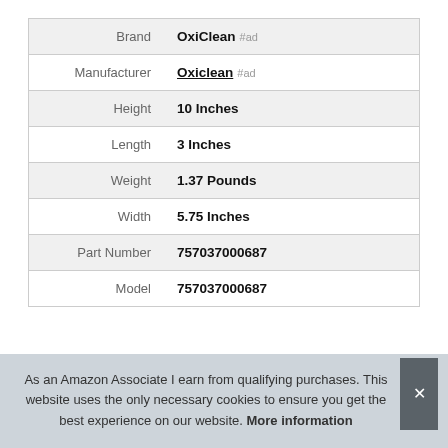| Attribute | Value |
| --- | --- |
| Brand | OxiClean #ad |
| Manufacturer | Oxiclean #ad |
| Height | 10 Inches |
| Length | 3 Inches |
| Weight | 1.37 Pounds |
| Width | 5.75 Inches |
| Part Number | 757037000687 |
| Model | 757037000687 |
As an Amazon Associate I earn from qualifying purchases. This website uses the only necessary cookies to ensure you get the best experience on our website. More information